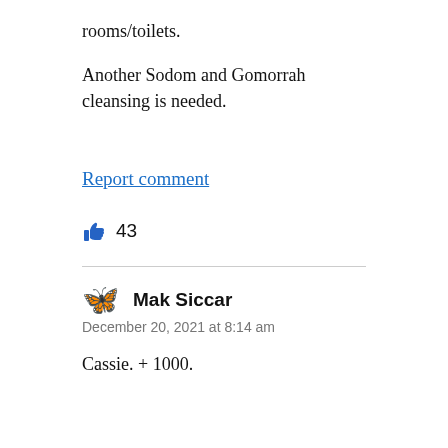rooms/toilets.
Another Sodom and Gomorrah cleansing is needed.
Report comment
👍 43
🦋 Mak Siccar
December 20, 2021 at 8:14 am
Cassie. + 1000.